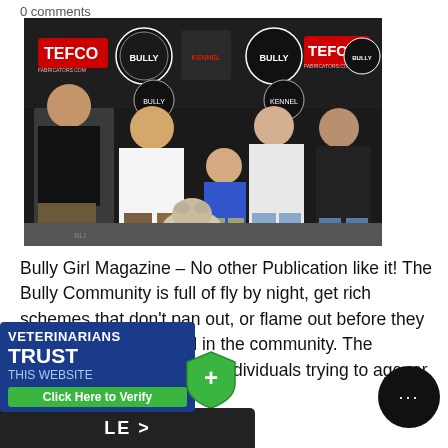0 comments
[Figure (photo): Group photo of four adults and one child posing with a bulldog in front of a sponsor backdrop showing TEFCO and Bully Girl Magazine logos.]
Bully Girl Magazine – No other Publication like it! The Bully Community is full of fly by night, get rich schemes that don't pan out, or flame out before they ever leave a vapor trail in the community. The community is chalk full of individuals trying to age, or a persona. Often times